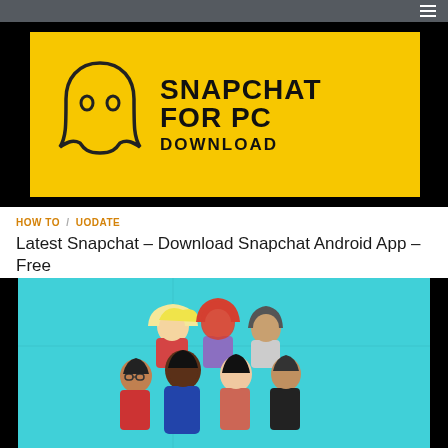[Figure (illustration): Snapchat For PC Download banner with yellow background, Snapchat ghost logo on left, bold text 'SNAPCHAT FOR PC DOWNLOAD' on right, black border/background]
HOW TO / UODATE
Latest Snapchat – Download Snapchat Android App – Free
[Figure (illustration): Group of diverse cartoon Snapchat Bitmoji avatar characters standing together on a teal/turquoise background]